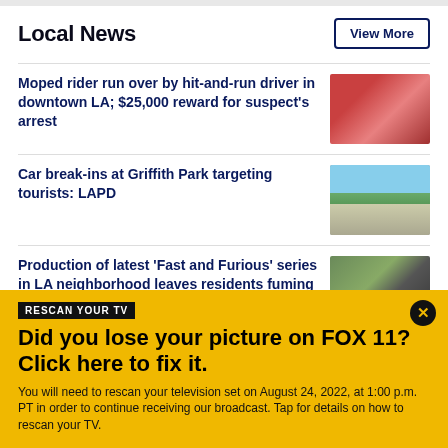Local News
View More
Moped rider run over by hit-and-run driver in downtown LA; $25,000 reward for suspect's arrest
[Figure (photo): Blurred red/pink photo related to moped hit-and-run story]
Car break-ins at Griffith Park targeting tourists: LAPD
[Figure (photo): Photo of Griffith Park observatory with blue sky]
Production of latest 'Fast and Furious' series in LA neighborhood leaves residents fuming
[Figure (photo): Photo related to Fast and Furious production in LA]
RESCAN YOUR TV
Did you lose your picture on FOX 11? Click here to fix it.
You will need to rescan your television set on August 24, 2022, at 1:00 p.m. PT in order to continue receiving our broadcast. Tap for details on how to rescan your TV.